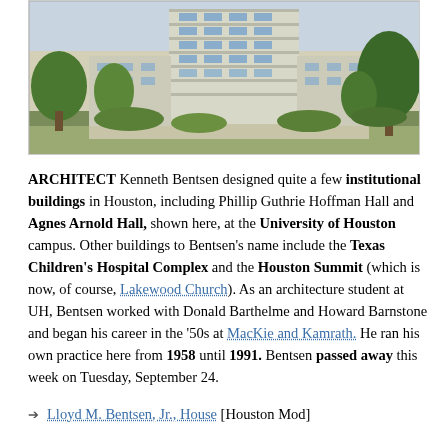[Figure (photo): Exterior photograph of a multi-story institutional building at the University of Houston campus, showing a modernist concrete structure with horizontal banding and trees in the foreground and background.]
ARCHITECT Kenneth Bentsen designed quite a few institutional buildings in Houston, including Phillip Guthrie Hoffman Hall and Agnes Arnold Hall, shown here, at the University of Houston campus. Other buildings to Bentsen's name include the Texas Children's Hospital Complex and the Houston Summit (which is now, of course, Lakewood Church). As an architecture student at UH, Bentsen worked with Donald Barthelme and Howard Barnstone and began his career in the '50s at MacKie and Kamrath. He ran his own practice here from 1958 until 1991. Bentsen passed away this week on Tuesday, September 24.
Lloyd M. Bentsen, Jr., House [Houston Mod]